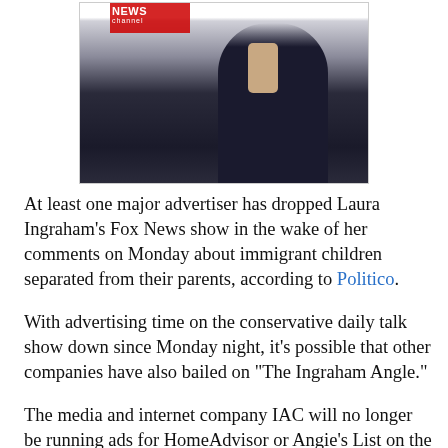[Figure (photo): Photo of Laura Ingraham with Fox News logo, woman in dark sleeveless outfit, partial upper body view]
At least one major advertiser has dropped Laura Ingraham's Fox News show in the wake of her comments on Monday about immigrant children separated from their parents, according to Politico.
With advertising time on the conservative daily talk show down since Monday night, it's possible that other companies have also bailed on “The Ingraham Angle.”
The media and internet company IAC will no longer be running ads for HomeAdvisor or Angie’s List on the show, an IAC spokesperson confirmed on Thursday.
During her show on Monday night, Ingraham described the detention centers for immigrant children separated from their parents on the Mexican border as “essentially like summer